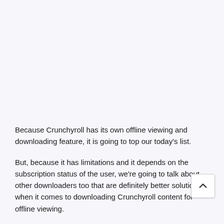Because Crunchyroll has its own offline viewing and downloading feature, it is going to top our today's list.
But, because it has limitations and it depends on the subscription status of the user, we're going to talk about other downloaders too that are definitely better solutions when it comes to downloading Crunchyroll content for offline viewing.
Here are the top best Crunchyroll video downloaders of 2022: